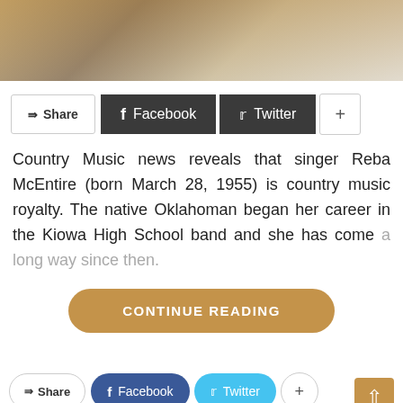[Figure (photo): Partial photo of a person wearing brown/tan clothing, cropped at top of page]
Share  Facebook  Twitter  +
Country Music news reveals that singer Reba McEntire (born March 28, 1955) is country music royalty. The native Oklahoman began her career in the Kiowa High School band and she has come a long way since then.
CONTINUE READING
Share  Facebook  Twitter  +